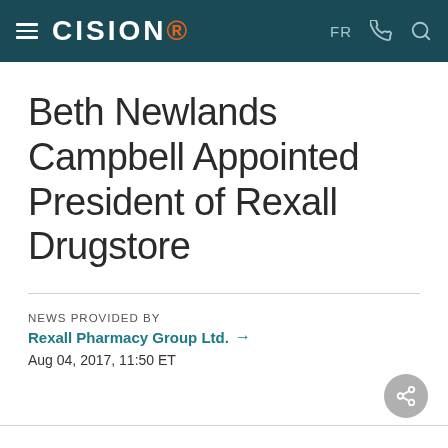CISION — FR
Beth Newlands Campbell Appointed President of Rexall Drugstore
NEWS PROVIDED BY
Rexall Pharmacy Group Ltd. →
Aug 04, 2017, 11:50 ET